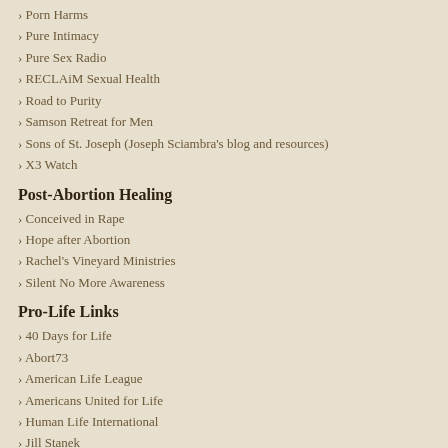Porn Harms
Pure Intimacy
Pure Sex Radio
RECLAiM Sexual Health
Road to Purity
Samson Retreat for Men
Sons of St. Joseph (Joseph Sciambra's blog and resources)
X3 Watch
Post-Abortion Healing
Conceived in Rape
Hope after Abortion
Rachel's Vineyard Ministries
Silent No More Awareness
Pro-Life Links
40 Days for Life
Abort73
American Life League
Americans United for Life
Human Life International
Jill Stanek
Life Issues
Life News
Life Site News
March for Life